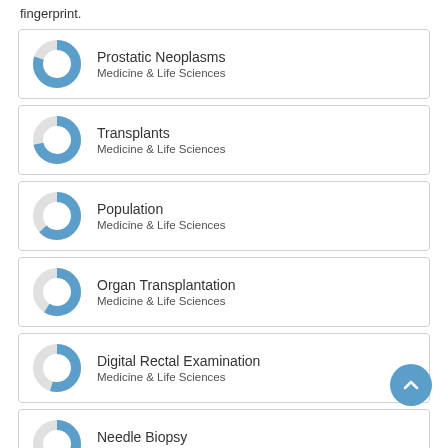fingerprint.
Prostatic Neoplasms — Medicine & Life Sciences
Transplants — Medicine & Life Sciences
Population — Medicine & Life Sciences
Organ Transplantation — Medicine & Life Sciences
Digital Rectal Examination — Medicine & Life Sciences
Needle Biopsy — Medicine & Life Sciences